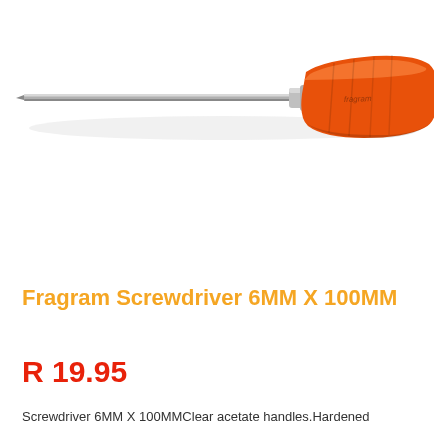[Figure (photo): A screwdriver with an orange handle and a long thin metal shaft/blade, pointing left, product photo on white background. Brand: Fragram.]
Fragram Screwdriver 6MM X 100MM
R 19.95
Screwdriver 6MM X 100MMClear acetate handles.Hardened